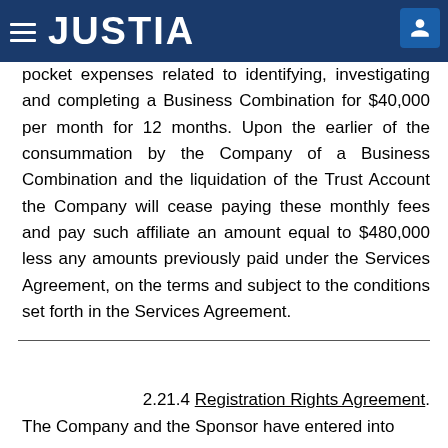JUSTIA
pocket expenses related to identifying, investigating and completing a Business Combination for $40,000 per month for 12 months. Upon the earlier of the consummation by the Company of a Business Combination and the liquidation of the Trust Account the Company will cease paying these monthly fees and pay such affiliate an amount equal to $480,000 less any amounts previously paid under the Services Agreement, on the terms and subject to the conditions set forth in the Services Agreement.
2.21.4 Registration Rights Agreement.
The Company and the Sponsor have entered into